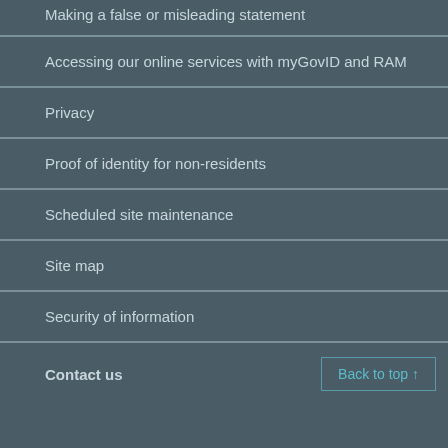Making a false or misleading statement
Accessing our online services with myGovID and RAM
Privacy
Proof of identity for non-residents
Scheduled site maintenance
Site map
Security of information
Contact us   Back to top ↑